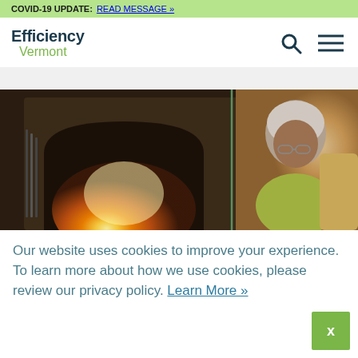COVID-19 UPDATE: READ MESSAGE »
[Figure (logo): Efficiency Vermont logo with search and menu icons]
[Figure (photo): An elderly woman sitting near a fireplace with flames visible, reading or looking downward]
Our website uses cookies to improve your experience. To learn more about how we use cookies, please review our privacy policy. Learn More »